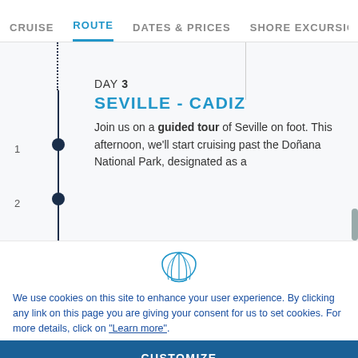CRUISE | ROUTE | DATES & PRICES | SHORE EXCURSIO
DAY 3 SEVILLE - CADIZ
Join us on a guided tour of Seville on foot. This afternoon, we'll start cruising past the Doñana National Park, designated as a
[Figure (illustration): Shell / scallop icon in outline style, light blue color]
We use cookies on this site to enhance your user experience. By clicking any link on this page you are giving your consent for us to set cookies. For more details, click on "Learn more".
CUSTOMIZE
REFUSE
OK, I AGREE